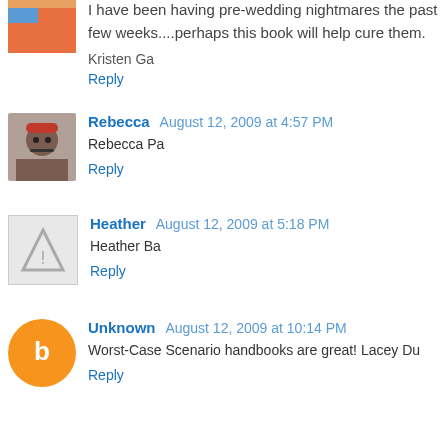I have been having pre-wedding nightmares the past few weeks....perhaps this book will help cure them.
Kristen Ga
Reply
Rebecca  August 12, 2009 at 4:57 PM
Rebecca Pa
Reply
Heather  August 12, 2009 at 5:18 PM
Heather Ba
Reply
Unknown  August 12, 2009 at 10:14 PM
Worst-Case Scenario handbooks are great! Lacey Du
Reply